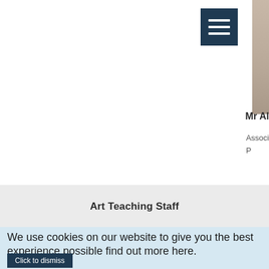[Figure (other): Hamburger/menu icon button — dark navy square with three horizontal white lines]
[Figure (photo): Partial photo of a person visible at the right edge of the page]
Mr Al
Associ
P
Art Teaching Staff
We use cookies on our website to give you the best experience possible find out more here.
Click to dismiss